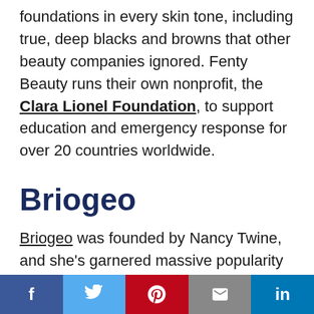foundations in every skin tone, including true, deep blacks and browns that other beauty companies ignored. Fenty Beauty runs their own nonprofit, the Clara Lionel Foundation, to support education and emergency response for over 20 countries worldwide.
Briogeo
Briogeo was founded by Nancy Twine, and she's garnered massive popularity for
f  t  p  mail  in